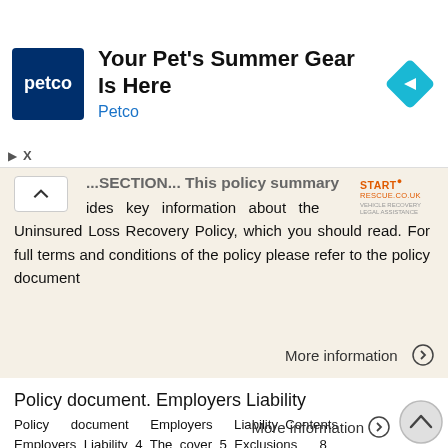[Figure (infographic): Petco advertisement banner with blue Petco logo, text 'Your Pet's Summer Gear Is Here', 'Petco' subtitle in blue, and a blue diamond navigation icon]
...SECTION... This policy summary provides key information about the Uninsured Loss Recovery Policy, which you should read. For full terms and conditions of the policy please refer to the policy document
More information →
Policy document. Employers Liability
Policy document Employers Liability Contents Employers Liability 4 The cover 5 Exclusions 8 Conditions 9 Complaints procedure 10 A warm welcome to Zurich Thank you for taking out your Employers Liability
More information →